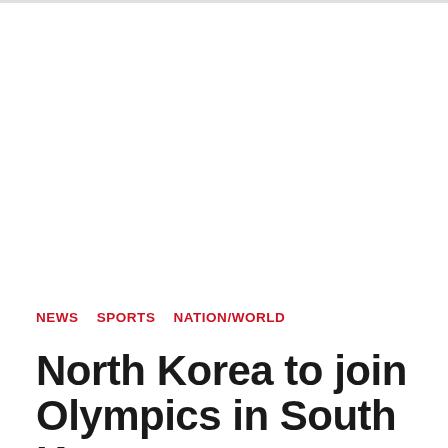NEWS   SPORTS   NATION/WORLD
North Korea to join Olympics in South Korea